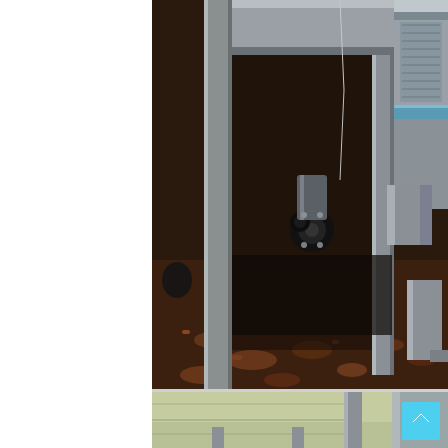[Figure (photo): A photo of the underside of commercial kitchen equipment, showing metal legs/supports on a dirty floor with debris and dark staining. Metal framing and rollers/casters visible. Appears to be a health inspection or documentation photo.]
[Figure (photo): A partial photo showing the lower portion of light green/yellow painted wall panels or equipment bases, with metal structural elements visible at the bottom of the frame.]